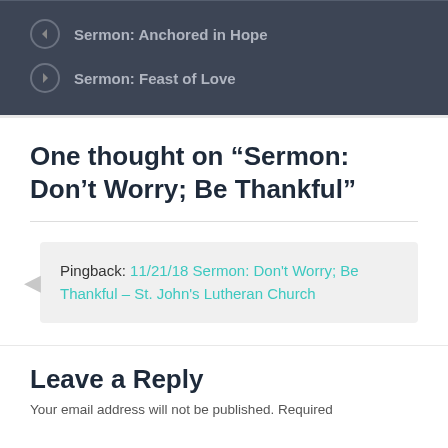Sermon: Anchored in Hope
Sermon: Feast of Love
One thought on “Sermon: Don’t Worry; Be Thankful”
Pingback: 11/21/18 Sermon: Don't Worry; Be Thankful – St. John's Lutheran Church
Leave a Reply
Your email address will not be published. Required